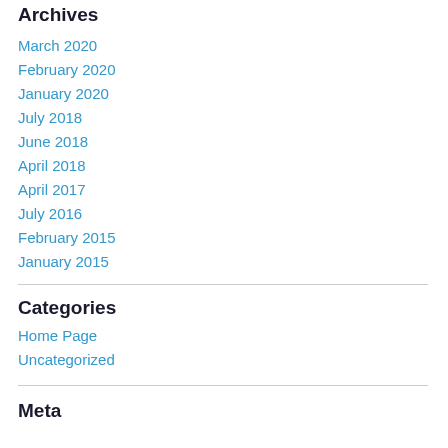Archives
March 2020
February 2020
January 2020
July 2018
June 2018
April 2018
April 2017
July 2016
February 2015
January 2015
Categories
Home Page
Uncategorized
Meta